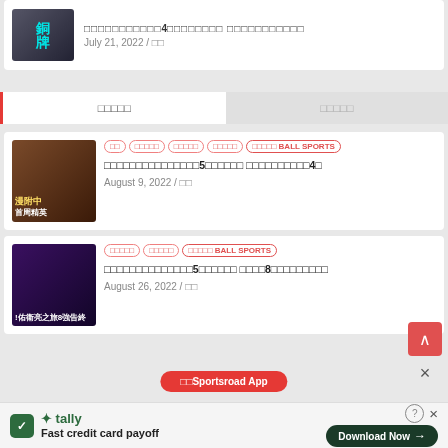[Figure (screenshot): Partial article card at top with bronze medal image and CJK text title, date July 21, 2022]
July 21, 2022 / □□
□□□□□   □□□□□
[Figure (screenshot): Article card 1: badminton player image with tags □□ □□□□□ □□□□□ □□□□□ □□□□□ BALL SPORTS, title with bold 5 and 4, date August 9, 2022]
August 9, 2022 / □□
[Figure (screenshot): Article card 2: badminton player image with tags □□□□□ □□□□□ □□□□□ BALL SPORTS, title with bold 5 and 8, date August 26, 2022]
August 26, 2022 / □□
[Figure (screenshot): Tally advertisement banner: Fast credit card payoff, Download Now button]
Fast credit card payoff